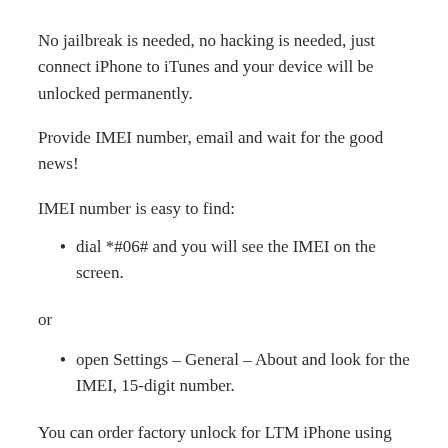No jailbreak is needed, no hacking is needed, just connect iPhone to iTunes and your device will be unlocked permanently.
Provide IMEI number, email and wait for the good news!
IMEI number is easy to find:
dial *#06# and you will see the IMEI on the screen.
or
open Settings – General – About and look for the IMEI, 15-digit number.
You can order factory unlock for LTM iPhone using